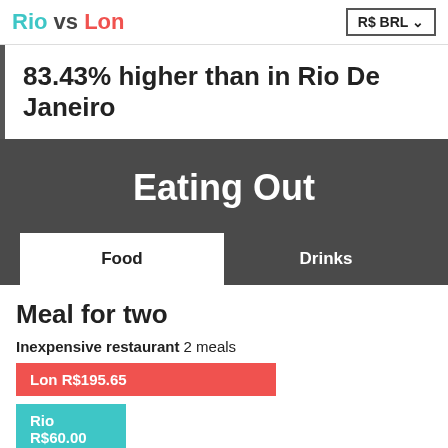Rio vs Lon | R$ BRL
83.43% higher than in Rio De Janeiro
Eating Out
Food | Drinks
Meal for two
Inexpensive restaurant 2 meals
Lon R$195.65
Rio R$60.00
Mid-range restaurant Three-course meal for two people